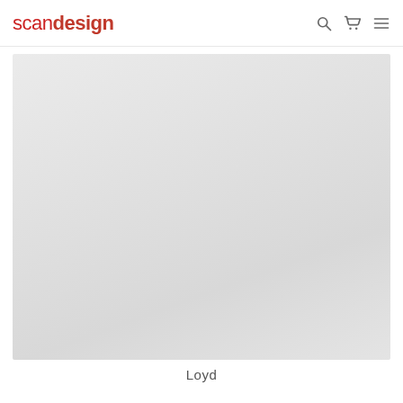scandesign
[Figure (photo): Large light grey product image placeholder area for a furniture or design product called Loyd]
Loyd